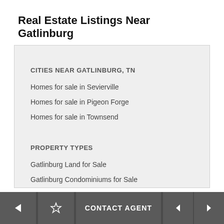Real Estate Listings Near Gatlinburg
CITIES NEAR GATLINBURG, TN
Homes for sale in Sevierville
Homes for sale in Pigeon Forge
Homes for sale in Townsend
PROPERTY TYPES
Gatlinburg Land for Sale
Gatlinburg Condominiums for Sale
← ☆ CONTACT AGENT ◄ ►